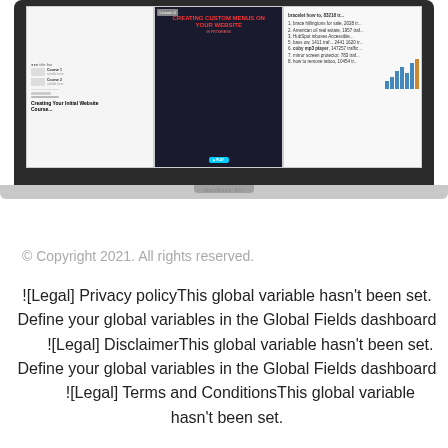[Figure (screenshot): Laptop (MacBook) displaying a website interface with multiple panels showing course thumbnails, 'Creating Your Initial Website Course', 'Creating Custom Menus on Your Website' with red overlay text, a bar chart panel, and a list of keywords/traffic data.]
© Copyright 2021. All rights reserved.
![Legal] Privacy policyThis global variable hasn't been set. Define your global variables in the Global Fields dashboard     ![Legal] DisclaimerThis global variable hasn't been set. Define your global variables in the Global Fields dashboard     ![Legal] Terms and ConditionsThis global variable hasn't been set.